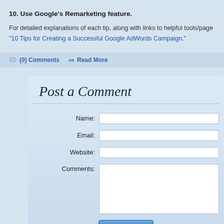10. Use Google's Remarketing feature.
For detailed explanations of each tip, along with links to helpful tools/page
"10 Tips for Creating a Successful Google AdWords Campaign."
(0) Comments   Read More
Post a Comment
Name: [input field]
Email: [input field]
Website: [input field]
Comments: [textarea]
Submit